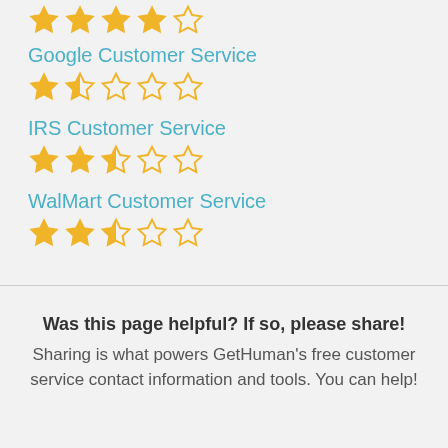[Figure (other): Partial star rating row at top (cut off) — approximately 4 filled stars]
Google Customer Service
[Figure (other): Star rating: 1.5 out of 5 stars (1 filled, 1 half, 3 empty)]
IRS Customer Service
[Figure (other): Star rating: 2.5 out of 5 stars (2 filled, 1 half, 2 empty)]
WalMart Customer Service
[Figure (other): Star rating: 2.5 out of 5 stars (2 filled, 1 half, 2 empty)]
Was this page helpful? If so, please share! Sharing is what powers GetHuman's free customer service contact information and tools. You can help!